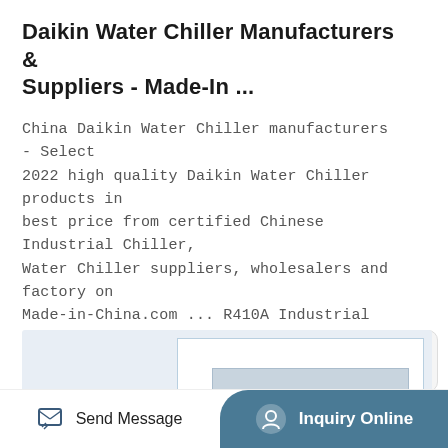Daikin Water Chiller Manufacturers & Suppliers - Made-In ...
China Daikin Water Chiller manufacturers - Select 2022 high quality Daikin Water Chiller products in best price from certified Chinese Industrial Chiller, Water Chiller suppliers, wholesalers and factory on Made-in-China.com ... R410A Industrial Glycol Cooling Air-Cooled Modular Water Chiller with Copeland/Daikin Compressor . US$ 3700-4000 ...
[Figure (screenshot): Partial screenshot of a product listing page showing a light blue preview area with nested white and gray bordered rectangles suggesting a product image area]
Send Message   Inquiry Online